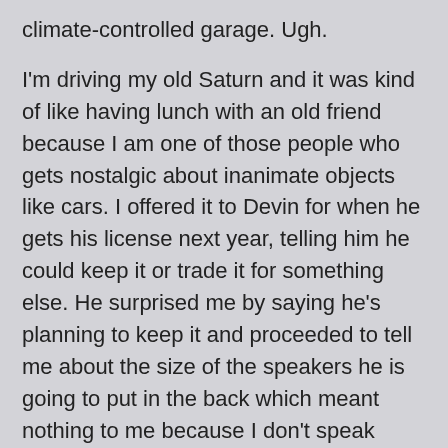climate-controlled garage. Ugh.
I'm driving my old Saturn and it was kind of like having lunch with an old friend because I am one of those people who gets nostalgic about inanimate objects like cars. I offered it to Devin for when he gets his license next year, telling him he could keep it or trade it for something else. He surprised me by saying he's planning to keep it and proceeded to tell me about the size of the speakers he is going to put in the back which meant nothing to me because I don't speak speaker language. At least I think he was talking about speakers.
I fear he's probably inherited that driving-with-the-music-so-loud-it-drowns-out-the-entire-world gene from me but somehow I get the feeling we (and our neighbors) aren't going to appreciate the type of beats he'll be pumping out. Should be fun.